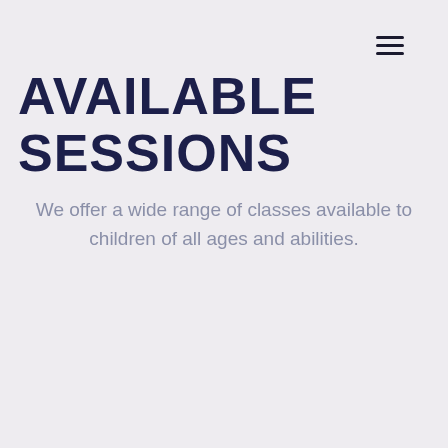≡
AVAILABLE SESSIONS
We offer a wide range of classes available to children of all ages and abilities.